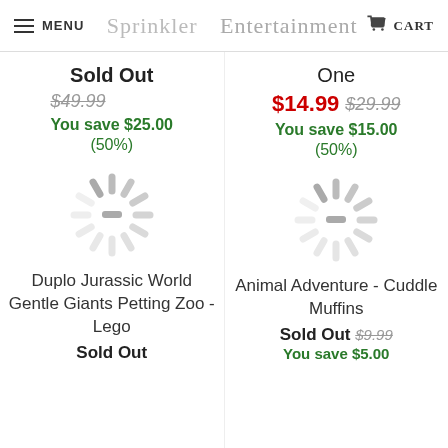MENU | Sprinkler | Entertainment | CART
Sold Out
$49.99
You save $25.00
(50%)
One
$14.99 $29.99
You save $15.00
(50%)
[Figure (illustration): Loading spinner icon (circular dashed loader graphic)]
[Figure (illustration): Loading spinner icon (circular dashed loader graphic)]
Duplo Jurassic World Gentle Giants Petting Zoo - Lego
Animal Adventure - Cuddle Muffins
Sold Out
Sold Out $9.99
You save $5.00